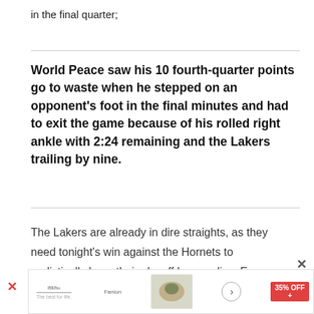in the final quarter;
World Peace saw his 10 fourth-quarter points go to waste when he stepped on an opponent's foot in the final minutes and had to exit the game because of his rolled right ankle with 2:24 remaining and the Lakers trailing by nine.
The Lakers are already in dire straights, as they need tonight's win against the Hornets to realistically keep their playoff hopes alive. Even
[Figure (other): Advertisement banner at the bottom of the page with a red X close button, showing a food/recipe ad with 35% OFF badge]